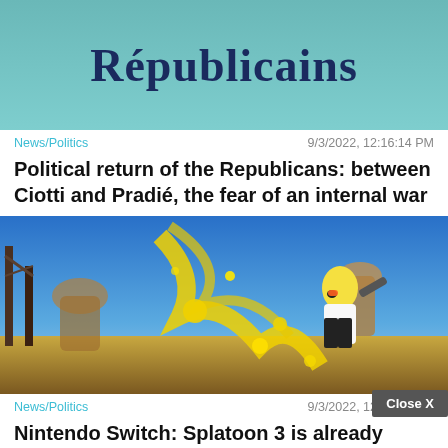[Figure (photo): Sign showing 'Républicains' text on a teal/blue background]
News/Politics    9/3/2022, 12:16:14 PM
Political return of the Republicans: between Ciotti and Pradié, the fear of an internal war
[Figure (screenshot): Nintendo Splatoon 3 game screenshot showing animated character with yellow ink splashes in a desert arena]
News/Politics    9/3/2022, 12:16:__ PM
Nintendo Switch: Splatoon 3 is already available for pre-order for less than 45 euros